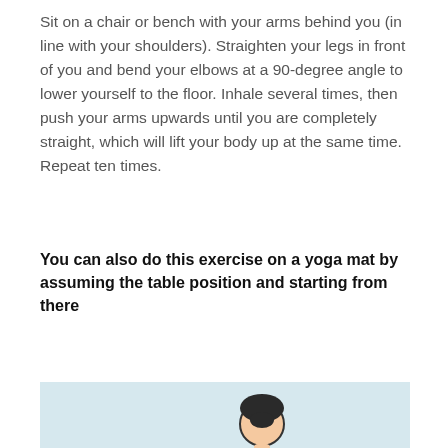Sit on a chair or bench with your arms behind you (in line with your shoulders). Straighten your legs in front of you and bend your elbows at a 90-degree angle to lower yourself to the floor. Inhale several times, then push your arms upwards until you are completely straight, which will lift your body up at the same time. Repeat ten times.
You can also do this exercise on a yoga mat by assuming the table position and starting from there
[Figure (illustration): Illustration of a person bent forward at the waist, wearing a green top and dark shorts, holding a dumbbell, performing a dumbbell row exercise. Light blue background.]